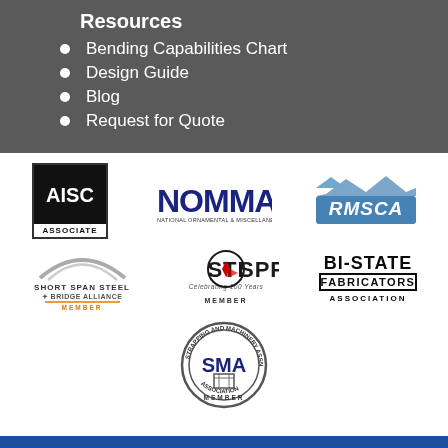Resources
Bending Capabilities Chart
Design Guide
Blog
Request for Quote
[Figure (logo): AISC Associate member logo - black and white box logo]
[Figure (logo): NOMMA - National Ornamental and Miscellaneous Metals Association logo in blue]
[Figure (logo): RMSCA logo in blue stylized text with mountain graphic]
[Figure (logo): Short Span Steel Bridge Alliance Member logo]
[Figure (logo): STI SPFA Member - Celebrating 100 Years logo]
[Figure (logo): Bi-State Fabricators Association logo]
[Figure (logo): SMA Strut and Machinery Association Member logo circular badge]